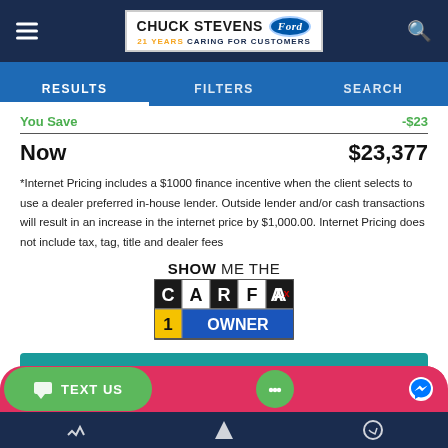Chuck Stevens Ford — 21 Years Caring for Customers
RESULTS | FILTERS | SEARCH
You Save  -$23
Now  $23,377
*Internet Pricing includes a $1000 finance incentive when the client selects to use a dealer preferred in-house lender. Outside lender and/or cash transactions will result in an increase in the internet price by $1,000.00. Internet Pricing does not include tax, tag, title and dealer fees
[Figure (logo): SHOW ME THE CARFAX 1 OWNER badge logo]
LOCK IN PRICE